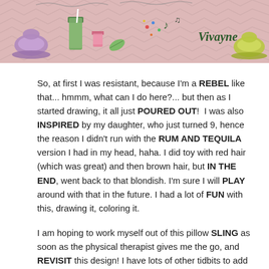[Figure (illustration): Decorative banner with pink/mauve chevron background featuring illustrated food and drink items: purple jelly mold, green smoothie cup, pink shot glass, green leaf/seed, colorful sprinkles, musical notes, cursive 'Vivayne' text, and yellow-green molded dessert on the right.]
So, at first I was resistant, because I'm a REBEL like that... hmmm, what can I do here?... but then as I started drawing, it all just POURED OUT!  I was also INSPIRED by my daughter, who just turned 9, hence the reason I didn't run with the RUM AND TEQUILA version I had in my head, haha. I did toy with red hair (which was great) and then brown hair, but IN THE END, went back to that blondish. I'm sure I will PLAY around with that in the future. I had a lot of FUN with this, drawing it, coloring it.
I am hoping to work myself out of this pillow SLING as soon as the physical therapist gives me the go, and REVISIT this design! I have lots of other tidbits to add